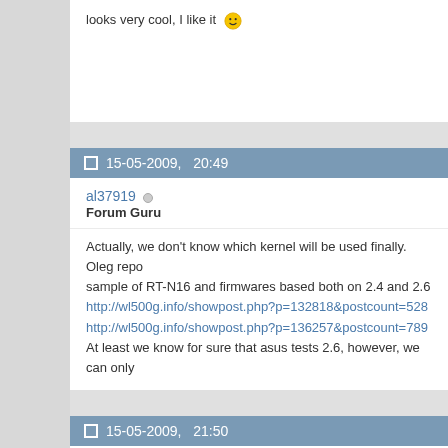looks very cool, I like it 😊
15-05-2009,   20:49
al37919
Forum Guru
Actually, we don't know which kernel will be used finally. Oleg repo sample of RT-N16 and firmwares based both on 2.4 and 2.6
http://wl500g.info/showpost.php?p=132818&postcount=528
http://wl500g.info/showpost.php?p=136257&postcount=789
At least we know for sure that asus tests 2.6, however, we can only
15-05-2009,   21:50
wpte
Student Computer Engineer
Originally Posted by al37919